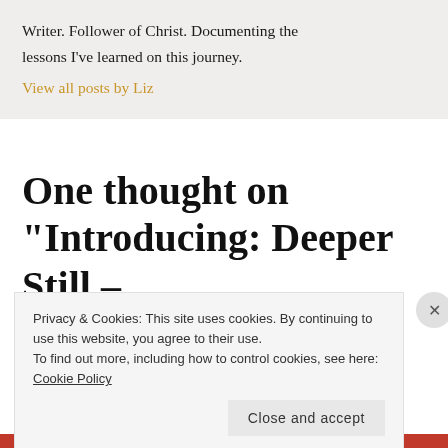Writer. Follower of Christ. Documenting the lessons I've learned on this journey.
View all posts by Liz
One thought on “Introducing: Deeper Still – An Interactive 5-Day
Privacy & Cookies: This site uses cookies. By continuing to use this website, you agree to their use.
To find out more, including how to control cookies, see here: Cookie Policy
Close and accept